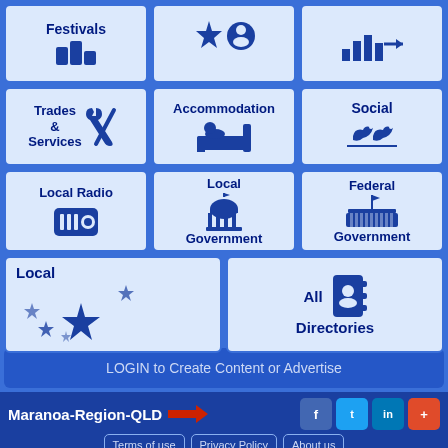[Figure (infographic): 3x3 grid of navigation tiles: Festivals, (star/person icons), (bar chart icon), Trades & Services, Accommodation, Social, Local Radio, Local Government, Federal Government]
[Figure (infographic): Bottom row: Local (with Australian stars icon) and All Directories (with address book icon)]
LOGIN to Create Content or Advertise
Maranoa-Region-QLD | Terms of use | Privacy Policy | About us | Australian Regional Network